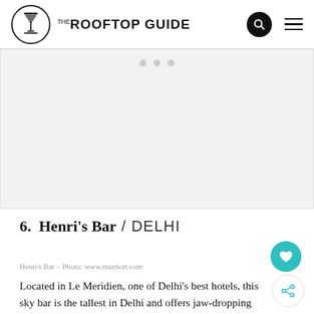ROOFTOP GUIDE
[Figure (photo): Placeholder image area with slider dots indicating a photo carousel for Henri's Bar]
6. Henri's Bar / DELHI
Henri's Bar - Photo: www.marriott.com
Located in Le Meridien, one of Delhi's best hotels, this sky bar is the tallest in Delhi and offers jaw-dropping views